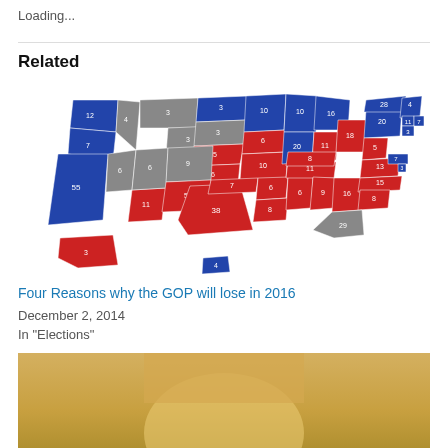Loading...
Related
[Figure (map): US Electoral College map showing states colored blue (Democrat), red (Republican), and gray (swing/undecided) with electoral vote numbers labeled on each state.]
Four Reasons why the GOP will lose in 2016
December 2, 2014
In "Elections"
[Figure (photo): Partial photo of a person with blonde hair at the bottom of the page.]